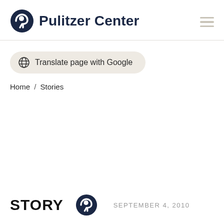Pulitzer Center
Translate page with Google
Home / Stories
STORY   SEPTEMBER 4, 2010